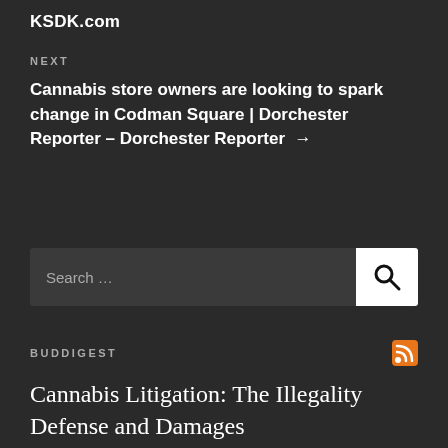KSDK.com
NEXT
Cannabis store owners are looking to spark change in Codman Square | Dorchester Reporter – Dorchester Reporter →
[Figure (other): Search bar with text 'Search …' and a white search button with a magnifying glass icon]
BUDDIGEST
Cannabis Litigation: The Illegality Defense and Damages